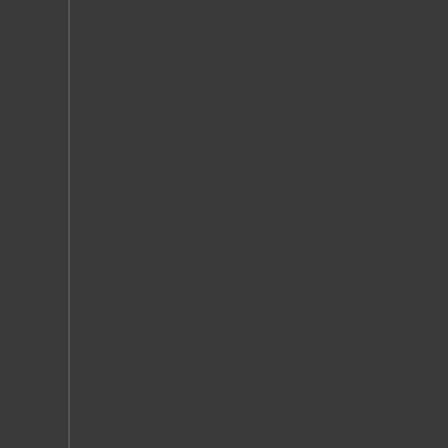years of smoking, the quality of re... reason that some have for their... problems. However, the problems d...
To help stop a problem with mariju... "high". They will essentially be go... longer wish to exist. Getting help... using regularly for some time, is a... funeral, but a beginning of a new li...
Meth Abuse Help, Vaiden, Missis...
There are many individuals who f... order to help yourself or someone... using meth is understood. There a... identify the reasons why an individ... to achieve a similar result through... abuse meth to help them relax. T... such as meditation and exercise. O... However, many people find that af... and social life in general can dete... meth is to avoid having to deal wi... away by themselves.
To help stop a problem with meth a... They will essentially be going into... to exist. Getting help for meth abu... some time, is a bit like losing an... beginning of a new life.
Alcohol Abuse Help, Vaiden, Mis...
Alcohol abuse help is something ne... these people may not realize it or... alcohol abuse can develop into alc... period of weeks or over a period o... occasionally doesn't intend to go... process. There seems to be a line... Once an individual cross th...